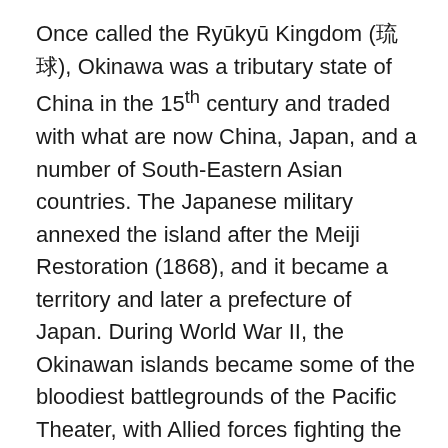Once called the Ryūkyū Kingdom (琉球), Okinawa was a tributary state of China in the 15th century and traded with what are now China, Japan, and a number of South-Eastern Asian countries. The Japanese military annexed the island after the Meiji Restoration (1868), and it became a territory and later a prefecture of Japan. During World War II, the Okinawan islands became some of the bloodiest battlegrounds of the Pacific Theater, with Allied forces fighting the Japanese and the Okinawans caught in the middle. Nearly one quarter of the native civilian population died in the battle of Okinawa. (Some of this war history and relationship with Japan in the 1980s is detailed in Norma Fields's In the Realm of a Dying Emperor [1991].)  After Japan's defeat, the US took control of the island until 1972, at which time it was returned to Japan, but the disputed Futenma Airbase and the US military